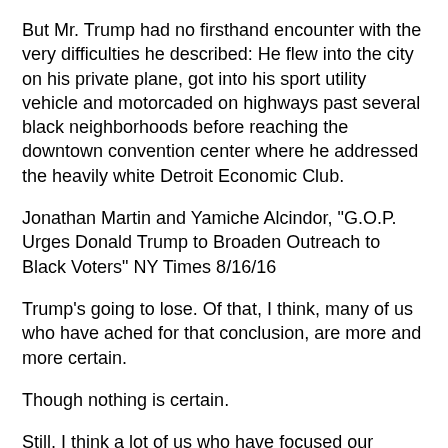But Mr. Trump had no firsthand encounter with the very difficulties he described: He flew into the city on his private plane, got into his sport utility vehicle and motorcaded on highways past several black neighborhoods before reaching the downtown convention center where he addressed the heavily white Detroit Economic Club.
Jonathan Martin and Yamiche Alcindor, "G.O.P. Urges Donald Trump to Broaden Outreach to Black Voters" NY Times 8/16/16
Trump's going to lose. Of that, I think, many of us who have ached for that conclusion, are more and more certain.
Though nothing is certain.
Still, I think a lot of us who have focused our attention on the defeat of Trump are sparing some thought to what happens next, to what happens when he's beaten.